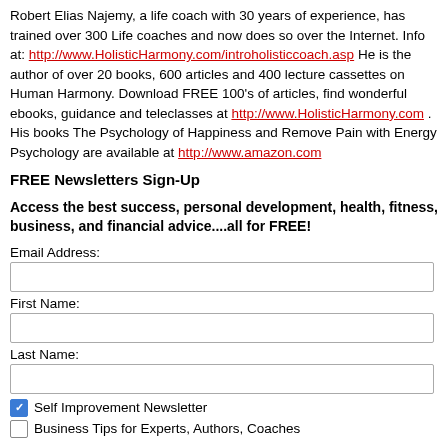Robert Elias Najemy, a life coach with 30 years of experience, has trained over 300 Life coaches and now does so over the Internet. Info at: http://www.HolisticHarmony.com/introholisticcoach.asp He is the author of over 20 books, 600 articles and 400 lecture cassettes on Human Harmony. Download FREE 100's of articles, find wonderful ebooks, guidance and teleclasses at http://www.HolisticHarmony.com . His books The Psychology of Happiness and Remove Pain with Energy Psychology are available at http://www.amazon.com
FREE Newsletters Sign-Up
Access the best success, personal development, health, fitness, business, and financial advice....all for FREE!
Email Address:
First Name:
Last Name:
Self Improvement Newsletter
Business Tips for Experts, Authors, Coaches